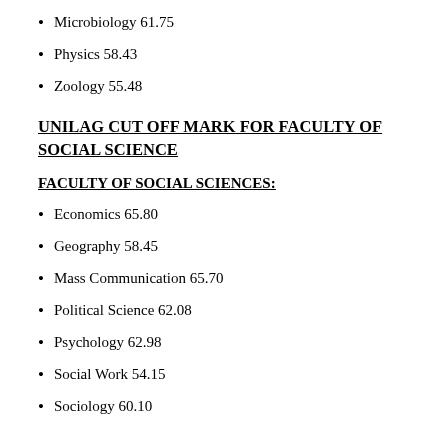Microbiology 61.75
Physics 58.43
Zoology 55.48
UNILAG CUT OFF MARK FOR FACULTY OF SOCIAL SCIENCE
FACULTY OF SOCIAL SCIENCES:
Economics 65.80
Geography 58.45
Mass Communication 65.70
Political Science 62.08
Psychology 62.98
Social Work 54.15
Sociology 60.10